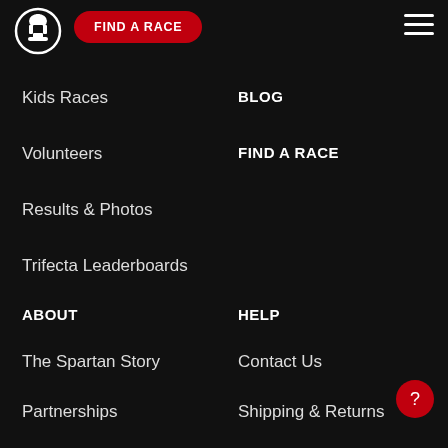[Figure (logo): Spartan Race logo — white spartan helmet in a circle]
FIND A RACE
[Figure (other): Hamburger menu icon — three horizontal white lines]
BLOG
Kids Races
Volunteers
FIND A RACE
Results & Photos
Trifecta Leaderboards
ABOUT
HELP
The Spartan Story
Contact Us
Partnerships
Shipping & Returns